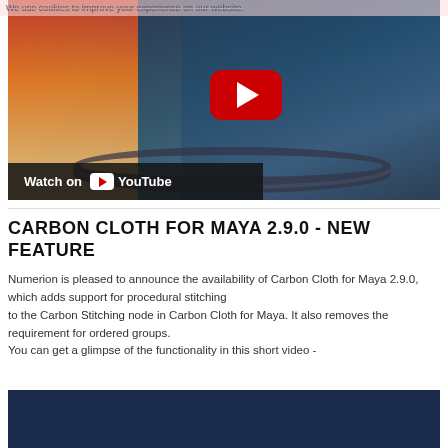We use cookies to improve your experience on our website.
[Figure (screenshot): YouTube video thumbnail showing a blue-skinned figure with beads/necklace and colorful background, with a red YouTube play button overlay and 'Watch on YouTube' bar at the bottom.]
CARBON CLOTH FOR MAYA 2.9.0 - NEW FEATURE
Numerion is pleased to announce the availability of Carbon Cloth for Maya 2.9.0, which adds support for procedural stitching to the Carbon Stitching node in Carbon Cloth for Maya. It also removes the requirement for ordered groups.
You can get a glimpse of the functionality in this short video -
[Figure (screenshot): Bottom portion of a dark navy blue video thumbnail, partially visible.]